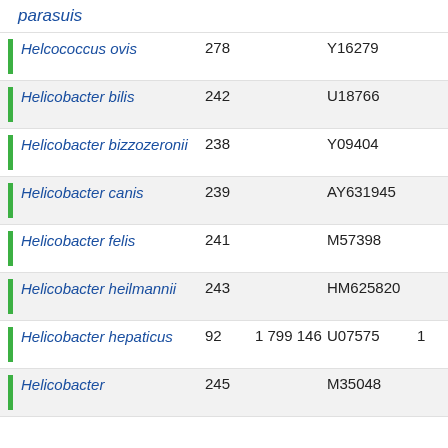parasuis
| Species | Num1 | Num2 | Accession | Extra |
| --- | --- | --- | --- | --- |
| Helcococcus ovis | 278 |  | Y16279 |  |
| Helicobacter bilis | 242 |  | U18766 |  |
| Helicobacter bizzozeronii | 238 |  | Y09404 |  |
| Helicobacter canis | 239 |  | AY631945 |  |
| Helicobacter felis | 241 |  | M57398 |  |
| Helicobacter heilmannii | 243 |  | HM625820 |  |
| Helicobacter hepaticus | 92 | 1 799 146 | U07575 | 1 |
| Helicobacter | 245 |  | M35048 |  |